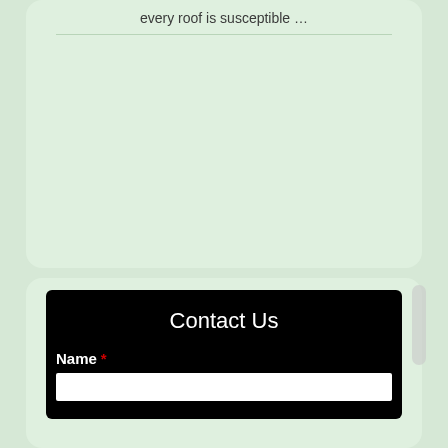every roof is susceptible …
[Figure (screenshot): Contact Us form section with black background, showing title 'Contact Us' and a Name field with a white input box]
Contact Us
Name *